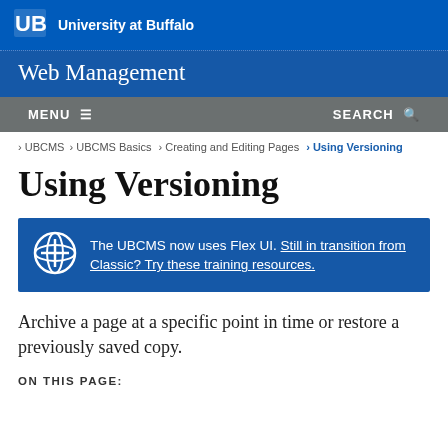University at Buffalo
Web Management
MENU   SEARCH
> UBCMS > UBCMS Basics > Creating and Editing Pages > Using Versioning
Using Versioning
The UBCMS now uses Flex UI. Still in transition from Classic? Try these training resources.
Archive a page at a specific point in time or restore a previously saved copy.
ON THIS PAGE: